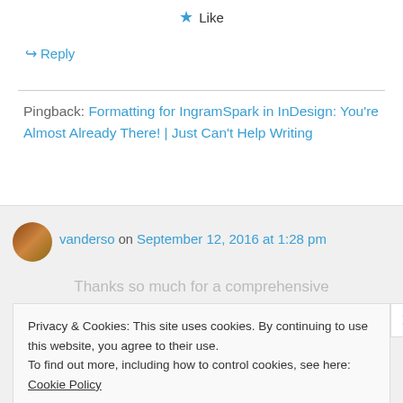★ Like
↳ Reply
Pingback: Formatting for IngramSpark in InDesign: You're Almost Already There! | Just Can't Help Writing
vanderso on September 12, 2016 at 1:28 pm
Thanks so much for a comprehensive
Privacy & Cookies: This site uses cookies. By continuing to use this website, you agree to their use.
To find out more, including how to control cookies, see here: Cookie Policy
Close and accept